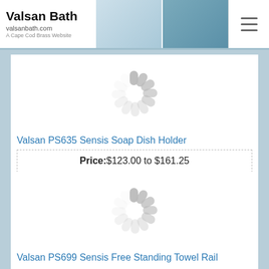Valsan Bath | valsanbath.com | A Cape Cod Brass Website
[Figure (screenshot): Loading spinner image placeholder]
Valsan PS635 Sensis Soap Dish Holder
Price: $123.00 to $161.25
[Figure (screenshot): Loading spinner image placeholder]
Valsan PS699 Sensis Free Standing Towel Rail